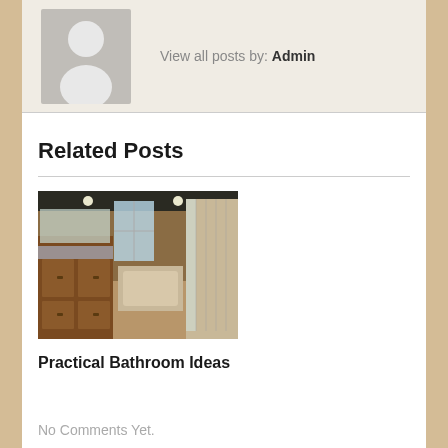View all posts by: Admin
Related Posts
[Figure (photo): Interior bathroom photo showing wooden vanity cabinets, bathtub, and glass shower enclosure]
Practical Bathroom Ideas
No Comments Yet.